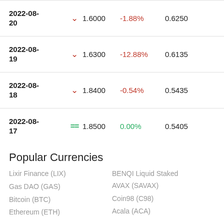| Date | Trend | Price | Change% | Value |
| --- | --- | --- | --- | --- |
| 2022-08-20 | ▼ | 1.6000 | -1.88% | 0.6250 |
| 2022-08-19 | ▼ | 1.6300 | -12.88% | 0.6135 |
| 2022-08-18 | ▼ | 1.8400 | -0.54% | 0.5435 |
| 2022-08-17 | = | 1.8500 | 0.00% | 0.5405 |
Popular Currencies
Lixir Finance (LIX)
Gas DAO (GAS)
Bitcoin (BTC)
Ethereum (ETH)
BENQI Liquid Staked AVAX (SAVAX)
Coin98 (C98)
Acala (ACA)